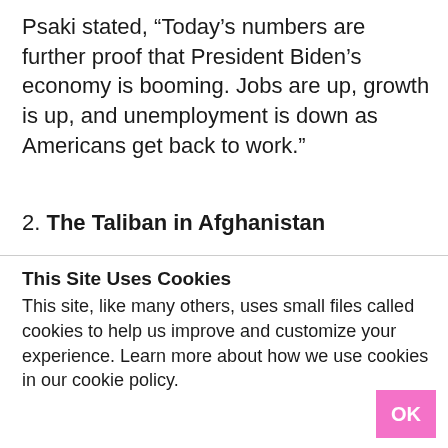Psaki stated, “Today’s numbers are further proof that President Biden’s economy is booming. Jobs are up, growth is up, and unemployment is down as Americans get back to work.”
2. The Taliban in Afghanistan
This Site Uses Cookies
This site, like many others, uses small files called cookies to help us improve and customize your experience. Learn more about how we use cookies in our cookie policy.